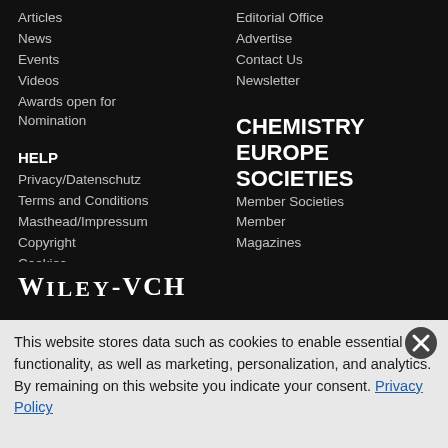Articles
News
Events
Videos
Awards open for Nomination
Editorial Office
Advertise
Contact Us
Newsletter
HELP
Privacy/Datenschutz
Terms and Conditions
Masthead/Impressum
Copyright
Cookies
CHEMISTRY EUROPE SOCIETIES
Member Societies
Member Magazines
[Figure (logo): Wiley-VCH logo in white serif text on black background]
This website stores data such as cookies to enable essential site functionality, as well as marketing, personalization, and analytics. By remaining on this website you indicate your consent. Privacy Policy